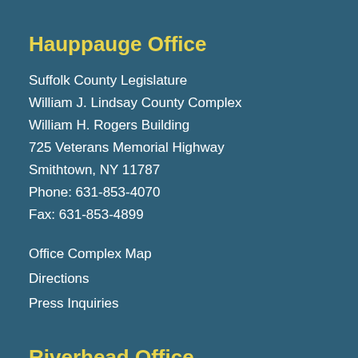Hauppauge Office
Suffolk County Legislature
William J. Lindsay County Complex
William H. Rogers Building
725 Veterans Memorial Highway
Smithtown, NY 11787
Phone: 631-853-4070
Fax: 631-853-4899
Office Complex Map
Directions
Press Inquiries
Riverhead Office
Suffolk County Legislature
Evans K. Griffing Building
300 Center Drive
Riverhead, New York 11901